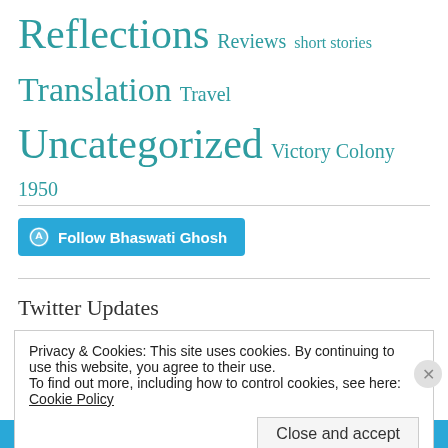Reflections Reviews short stories Translation Travel Uncategorized Victory Colony 1950
[Figure (other): Follow Bhaswati Ghosh button with WordPress icon]
Twitter Updates
Privacy & Cookies: This site uses cookies. By continuing to use this website, you agree to their use.
To find out more, including how to control cookies, see here: Cookie Policy
Close and accept